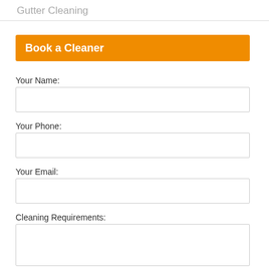Gutter Cleaning
Book a Cleaner
Your Name:
Your Phone:
Your Email:
Cleaning Requirements:
[Figure (screenshot): Red button overlay reading 'Click Here To Call Us' with reCAPTCHA badge in bottom right corner]